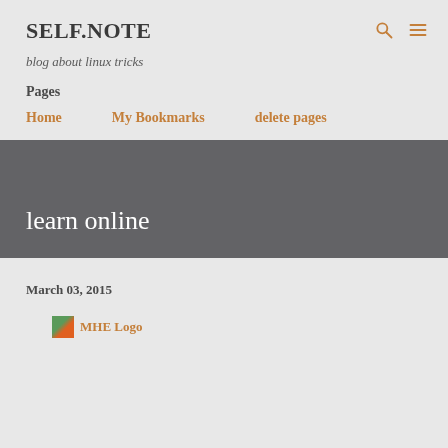SELF.NOTE
blog about linux tricks
Pages
Home
My Bookmarks
delete pages
learn online
March 03, 2015
[Figure (logo): MHE Logo image with orange text label]